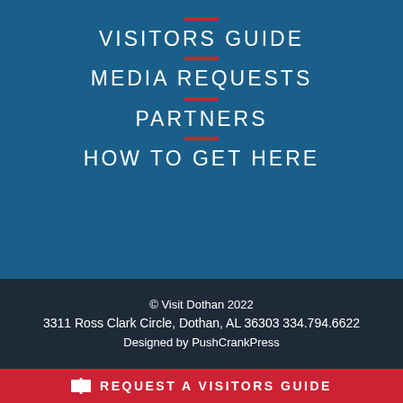VISITORS GUIDE
MEDIA REQUESTS
PARTNERS
HOW TO GET HERE
© Visit Dothan 2022
3311 Ross Clark Circle, Dothan, AL 36303 334.794.6622
Designed by PushCrankPress
REQUEST A VISITORS GUIDE